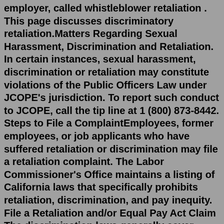employer, called whistleblower retaliation . This page discusses discriminatory retaliation.Matters Regarding Sexual Harassment, Discrimination and Retaliation. In certain instances, sexual harassment, discrimination or retaliation may constitute violations of the Public Officers Law under JCOPE's jurisdiction. To report such conduct to JCOPE, call the tip line at 1 (800) 873-8442. Steps to File a ComplaintEmployees, former employees, or job applicants who have suffered retaliation or discrimination may file a retaliation complaint. The Labor Commissioner's Office maintains a listing of California laws that specifically prohibits retaliation, discrimination, and pay inequity. File a Retaliation and/or Equal Pay Act Claim The discrimination laws generally cover discrimination on the basis of age, sex, race, color, national origin, religion, and covered disability. The laws protect employees from a variety of adverse actions, from hiring, through pay and advancement opportunities, through termination of employment, and even post-employment.